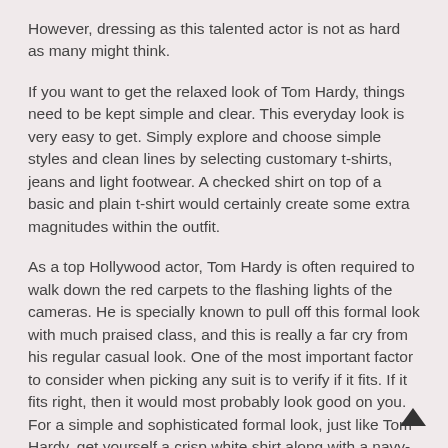However, dressing as this talented actor is not as hard as many might think.
If you want to get the relaxed look of Tom Hardy, things need to be kept simple and clear. This everyday look is very easy to get. Simply explore and choose simple styles and clean lines by selecting customary t-shirts, jeans and light footwear. A checked shirt on top of a basic and plain t-shirt would certainly create some extra magnitudes within the outfit.
As a top Hollywood actor, Tom Hardy is often required to walk down the red carpets to the flashing lights of the cameras. He is specially known to pull off this formal look with much praised class, and this is really a far cry from his regular casual look. One of the most important factor to consider when picking any suit is to verify if it fits. If it fits right, then it would most probably look good on you. For a simple and sophisticated formal look, just like Tom Hardy, get yourself a crisp white shirt along with a navy-bl suit.